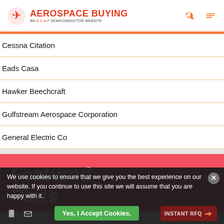AEROSPACE BUYING — AN A.S.A.P SEMICONDUCTOR WEBSITE
Cessna Citation
Eads Casa
Hawker Beechcraft
Gulfstream Aerospace Corporation
General Electric Co
Featured Parts
We use cookies to ensure that we give you the best experience on our website. If you continue to use this site we will assume that you are happy with it.